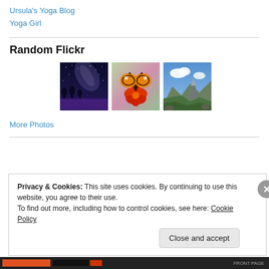Ursula's Yoga Blog
Yoga Girl
Random Flickr
[Figure (photo): Three Flickr photos: night sky with Milky Way over lavender field, monarch butterfly on red flower, mountain peak with green slopes and clouds]
More Photos
Privacy & Cookies: This site uses cookies. By continuing to use this website, you agree to their use.
To find out more, including how to control cookies, see here: Cookie Policy
Close and accept